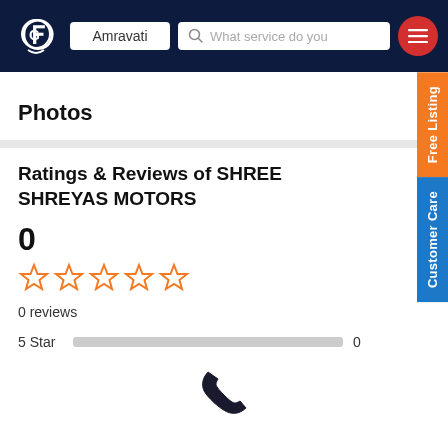Amravati | What service do you...
Photos
Ratings & Reviews of SHREE SHREYAS MOTORS
0
0 reviews
5 Star   0